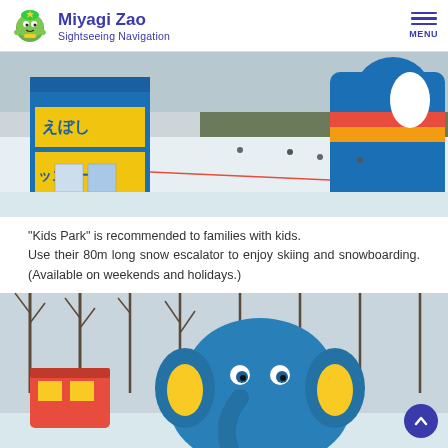Miyagi Zao Sightseeing Navigation
[Figure (photo): Snow park with blue building showing Japanese text, ski slope with people skiing and snowboarding, blue inflatable penguin/animal structure on the right, winter trees in background]
"Kids Park" is recommended to families with kids.
Use their 80m long snow escalator to enjoy skiing and snowboarding. (Available on weekends and holidays.)
[Figure (photo): Large blue elephant inflatable character in a snowy setting with bare winter trees, a red train/building visible on the left side]